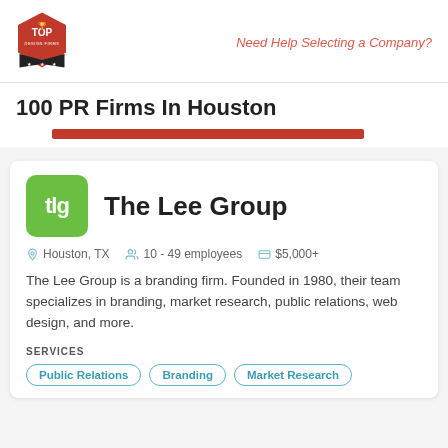Top Design Firms logo | Need Help Selecting a Company?
100 PR Firms In Houston
[Figure (other): Red progress bar indicating list position]
The Lee Group
Houston, TX  |  10 - 49 employees  |  $5,000+
The Lee Group is a branding firm. Founded in 1980, their team specializes in branding, market research, public relations, web design, and more.
SERVICES
Public Relations
Branding
Market Research